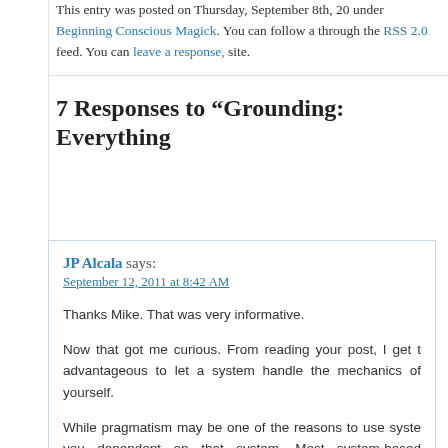This entry was posted on Thursday, September 8th, 20 under Beginning Conscious Magick. You can follow a through the RSS 2.0 feed. You can leave a response, site.
7 Responses to “Grounding: Everything
JP Alcala says:
September 12, 2011 at 8:42 AM

Thanks Mike. That was very informative.

Now that got me curious. From reading your post, I get t advantageous to let a system handle the mechanics of yourself.

While pragmatism may be one of the reasons to use syste you dependent on that system. Most system-based groundin be cumbersome especially when in a place wherein pe possible (e.g. inside a mall).

What’s your take on this?

Reply